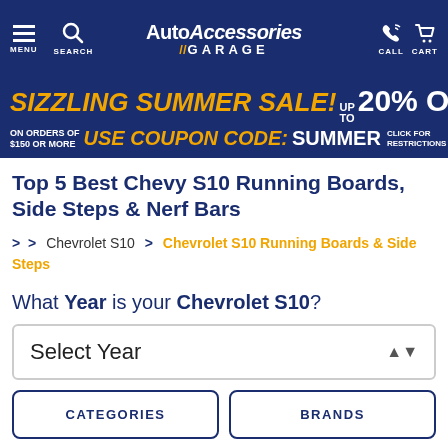AutoAccessories Garage — MENU | SEARCH | CALL | CART
[Figure (screenshot): Sizzling Summer Sale banner: UP TO 20% OFF, USE COUPON CODE: SUMMER, on orders of $150 or more, click for restrictions]
Top 5 Best Chevy S10 Running Boards, Side Steps & Nerf Bars
> > Chevrolet S10 > Chevrolet S10 Running Boards & Side Steps
What Year is your Chevrolet S10?
Select Year
CATEGORIES
BRANDS
[Figure (photo): Bottom banner showing running boards product image with text: Save 10% On All Raptor Series]